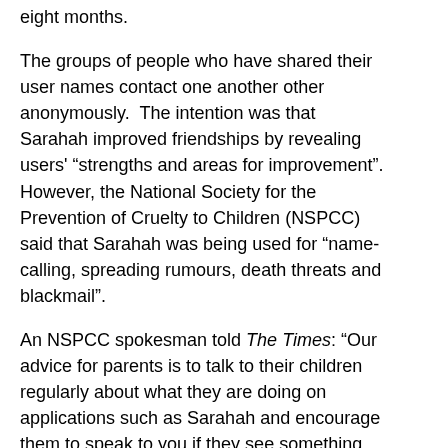eight months.
The groups of people who have shared their user names contact one another other anonymously.  The intention was that Sarahah improved friendships by revealing users' “strengths and areas for improvement”. However, the National Society for the Prevention of Cruelty to Children (NSPCC) said that Sarahah was being used for “name-calling, spreading rumours, death threats and blackmail”.
An NSPCC spokesman told The Times: “Our advice for parents is to talk to their children regularly about what they are doing on applications such as Sarahah and encourage them to speak to you if they see something upsetting. We’d encourage children using Sarahah not to share their user name publicly, to limit who can communicate with them on the application.”